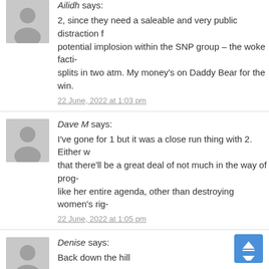Ailidh says: 2, since they need a saleable and very public distraction from the potential implosion within the SNP group – the woke facti- splits in two atm. My money's on Daddy Bear for the win.
22 June, 2022 at 1:03 pm
Dave M says: I've gone for 1 but it was a close run thing with 2. Either w- that there'll be a great deal of not much in the way of prog- like her entire agenda, other than destroying women's rig-
22 June, 2022 at 1:05 pm
Denise says: Back down the hill

If my theory of her being totally controlled by the Brits. Th- would the Brits want her to do?

With Ireland, Brexit and the idiot in number 10 to conside-

Staying in limbo, kicking the can has worked so far. So th- give that play up until it stops working and the goo- when it stops with working it's likely to usher in a c- in Holrood.